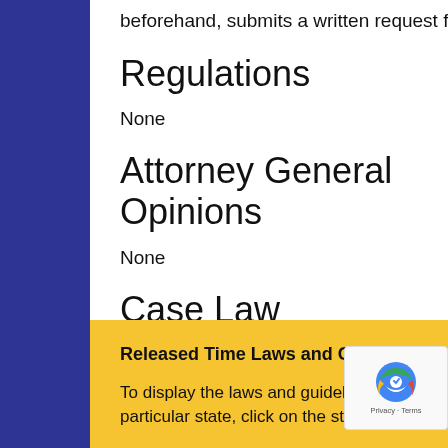beforehand, submits a written request for the excused absence.
Regulations
None
Attorney General Opinions
None
Case Law
None
Released Time Laws and Guidelines for the United States
To display the laws and guidelines for Released Time that apply to a particular state, click on the state below. Section State header information